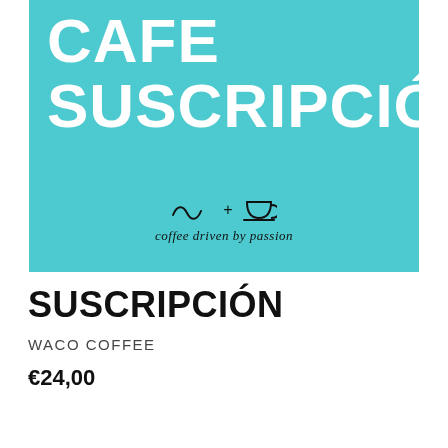[Figure (illustration): Teal/turquoise square image with large bold white text reading CAFE SUSCRIPCIÓN, and a wave+coffee cup logo with text 'coffee driven by passion' at the bottom center]
SUSCRIPCIÓN
WACO COFFEE
€24,00